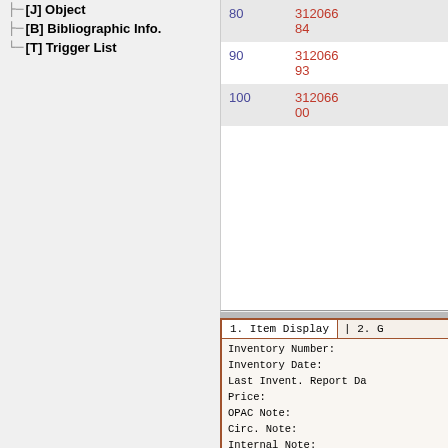[J] Object
[B] Bibliographic Info.
[T] Trigger List
|  |  |
| --- | --- |
| 80 | 312066
84 |
| 90 | 312066
93 |
| 100 | 312066
00 |
[Figure (screenshot): Item Display panel with form fields: Inventory Number, Inventory Date, Last Invent. Report Da, Price, OPAC Note, Circ. Note, Internal Note, Order Number, Invoice Key, Invoice Note]
1. Item Display | 2. G
Inventory Number:
Inventory Date:
Last Invent. Report Da:
Price:
OPAC Note:
Circ. Note:
Internal Note:
Order Number:
Invoice Key:
Invoice Note: